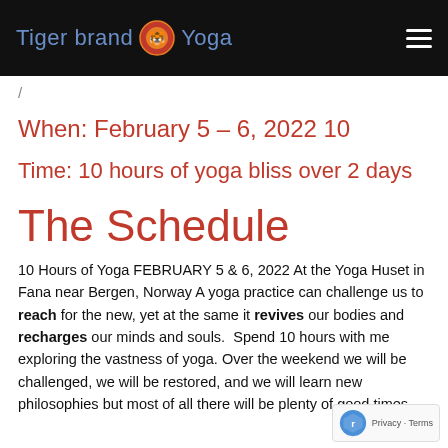Tiger brand Yoga
/
When: February 5 – 6,  2022 10
Time: 10 hours of yoga bliss over 2 days
The Schedule
10 Hours of Yoga FEBRUARY 5 & 6, 2022 At the Yoga Huset in Fana near Bergen, Norway A yoga practice can challenge us to reach for the new, yet at the same it revives our bodies and recharges our minds and souls.  Spend 10 hours with me exploring the vastness of yoga. Over the weekend we will be challenged, we will be restored, and we will learn new philosophies but most of all there will be plenty of good times